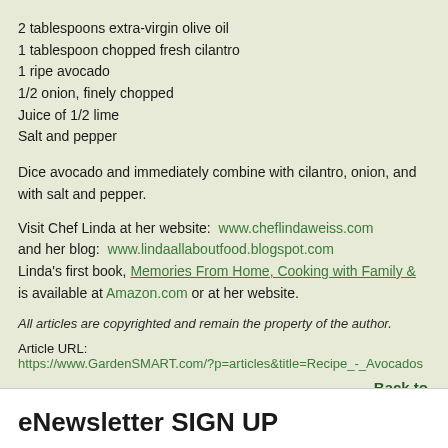2 tablespoons extra-virgin olive oil
1 tablespoon chopped fresh cilantro
1 ripe avocado
1/2 onion, finely chopped
Juice of 1/2 lime
Salt and pepper
Dice avocado and immediately combine with cilantro, onion, and with salt and pepper.
Visit Chef Linda at her website: www.cheflindaweiss.com and her blog: www.lindaallaboutfood.blogspot.com Linda's first book, Memories From Home, Cooking with Family & is available at Amazon.com or at her website.
All articles are copyrighted and remain the property of the author.
Article URL:
https://www.GardenSMART.com/?p=articles&title=Recipe_-_Avocados
Back to
eNewsletter SIGN UP